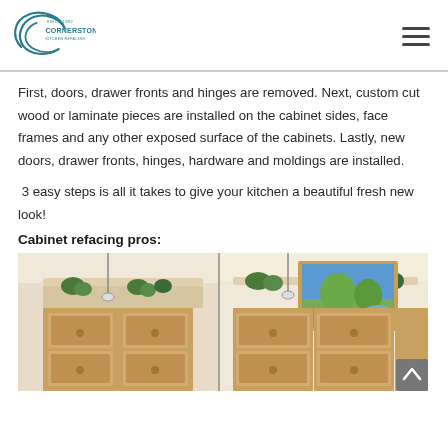Cornerstone Kitchen Refacing logo and navigation
First, doors, drawer fronts and hinges are removed. Next, custom cut wood or laminate pieces are installed on the cabinet sides, face frames and any other exposed surface of the cabinets. Lastly, new doors, drawer fronts, hinges, hardware and moldings are installed.
3 easy steps is all it takes to give your kitchen a beautiful fresh new look!
Cabinet refacing pros:
[Figure (photo): Kitchen cabinets before and after refacing, showing warm wood-tone cabinetry with crown molding, plants on top, pendant lights, and a landscape painting on the wall.]